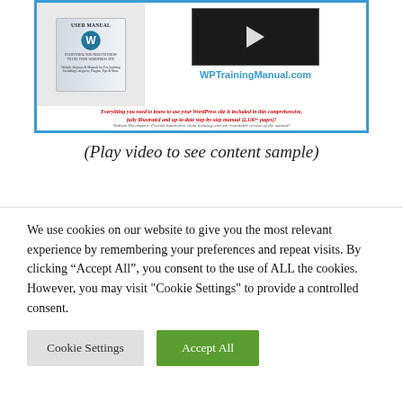[Figure (screenshot): WPTrainingManual.com advertisement banner with a binder manual cover on the left, a video thumbnail with play button in the center-right, the URL WPTrainingManual.com, a red italic tagline about comprehensive WordPress manual, and a developer note.]
(Play video to see content sample)
The most comprehensive, detailed, and up-to-
We use cookies on our website to give you the most relevant experience by remembering your preferences and repeat visits. By clicking “Accept All”, you consent to the use of ALL the cookies. However, you may visit "Cookie Settings" to provide a controlled consent.